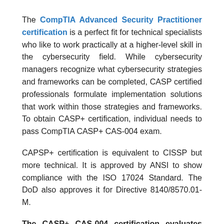The CompTIA Advanced Security Practitioner certification is a perfect fit for technical specialists who like to work practically at a higher-level skill in the cybersecurity field. While cybersecurity managers recognize what cybersecurity strategies and frameworks can be completed, CASP certified professionals formulate implementation solutions that work within those strategies and frameworks. To obtain CASP+ certification, individual needs to pass CompTIA CASP+ CAS-004 exam.
CAPSP+ certification is equivalent to CISSP but more technical. It is approved by ANSI to show compliance with the ISO 17024 Standard. The DoD also approves it for Directive 8140/8570.01-M.
The CASP+ CAS-004 certification evaluates advanced-level skills in the following domains.
admin's blog | Read more